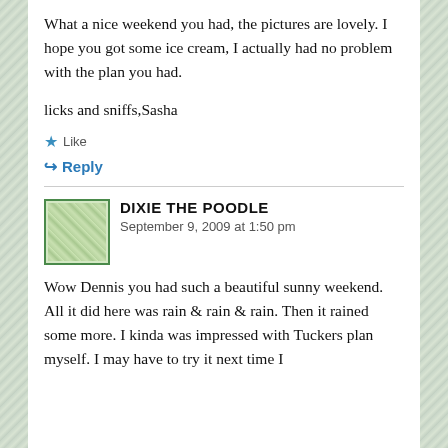What a nice weekend you had, the pictures are lovely. I hope you got some ice cream, I actually had no problem with the plan you had.
licks and sniffs,Sasha
★ Like
↪ Reply
DIXIE THE POODLE
September 9, 2009 at 1:50 pm
Wow Dennis you had such a beautiful sunny weekend. All it did here was rain & rain & rain. Then it rained some more. I kinda was impressed with Tuckers plan myself. I may have to try it next time I